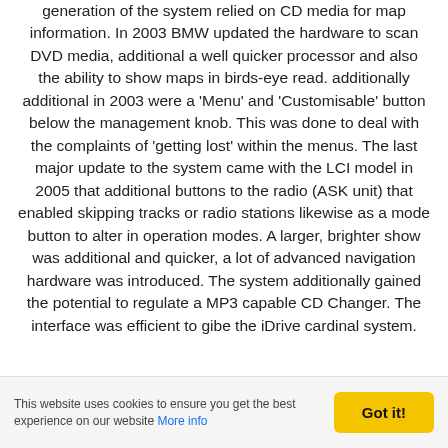generation of the system relied on CD media for map information. In 2003 BMW updated the hardware to scan DVD media, additional a well quicker processor and also the ability to show maps in birds-eye read. additionally additional in 2003 were a 'Menu' and 'Customisable' button below the management knob. This was done to deal with the complaints of 'getting lost' within the menus. The last major update to the system came with the LCI model in 2005 that additional buttons to the radio (ASK unit) that enabled skipping tracks or radio stations likewise as a mode button to alter in operation modes. A larger, brighter show was additional and quicker, a lot of advanced navigation hardware was introduced. The system additionally gained the potential to regulate a MP3 capable CD Changer. The interface was efficient to gibe the iDrive cardinal system.
This website uses cookies to ensure you get the best experience on our website More info